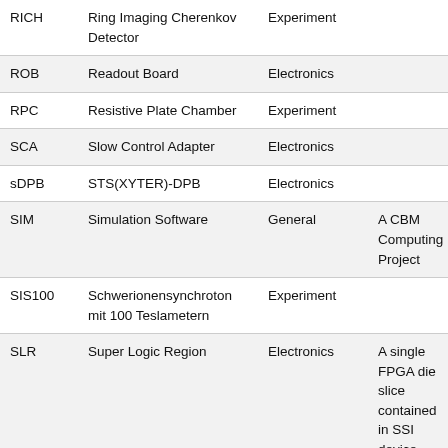| Abbreviation | Full Name | Category | Notes |
| --- | --- | --- | --- |
| RICH | Ring Imaging Cherenkov Detector | Experiment |  |
| ROB | Readout Board | Electronics |  |
| RPC | Resistive Plate Chamber | Experiment |  |
| SCA | Slow Control Adapter | Electronics |  |
| sDPB | STS(XYTER)-DPB | Electronics |  |
| SIM | Simulation Software | General | A CBM Computing Project |
| SIS100 | Schwerionensynchroton mit 100 Teslametern | Experiment |  |
| SLR | Super Logic Region | Electronics | A single FPGA die slice contained in SSI device |
| SMX | STS/MUCH-XYTER | Electronics |  |
| SPADIC | Self-triggered Pulse Amplification and Digitization asIC | Experiment |  |